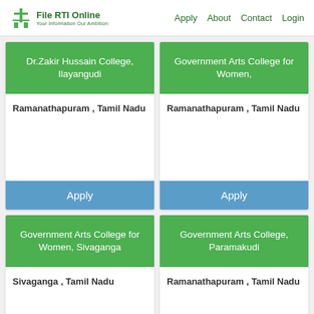File RTI Online | Your Information Our Ambition | Apply | About | Contact | Login
Dr.Zakir Hussain College, Ilayangudi
Ramanathapuram , Tamil Nadu
Apply
Government Arts College for Women,
Ramanathapuram , Tamil Nadu
Apply
Government Arts College for Women, Sivaganga
Sivaganga , Tamil Nadu
Government Arts College, Paramakudi
Ramanathapuram , Tamil Nadu